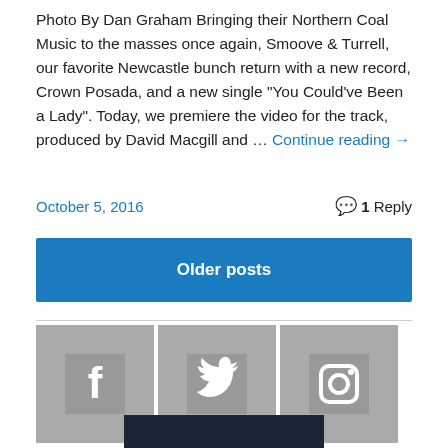Photo By Dan Graham Bringing their Northern Coal Music to the masses once again, Smoove & Turrell, our favorite Newcastle bunch return with a new record, Crown Posada, and a new single "You Could've Been a Lady". Today, we premiere the video for the track, produced by David Macgill and … Continue reading →
October 5, 2016   1 Reply
Older posts
[Figure (illustration): Three social media icons: Facebook (f), Twitter (bird), Instagram (camera) on grey square backgrounds]
[Figure (illustration): Dark navy/black bar at bottom of page, partial footer element]